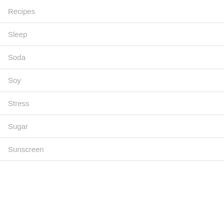Recipes
Sleep
Soda
Soy
Stress
Sugar
Sunscreen